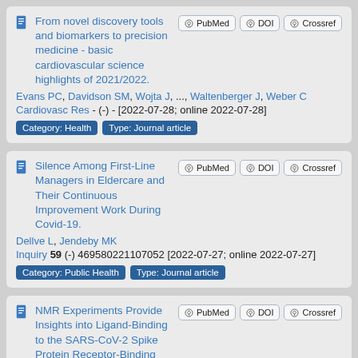From novel discovery tools and biomarkers to precision medicine - basic cardiovascular science highlights of 2021/2022. Evans PC, Davidson SM, Wojta J, ..., Waltenberger J, Weber C. Cardiovasc Res - (-) - [2022-07-28; online 2022-07-28]. Category: Health. Type: Journal article.
Silence Among First-Line Managers in Eldercare and Their Continuous Improvement Work During Covid-19. Dellve L, Jendeby MK. Inquiry 59 (-) 469580221107052 [2022-07-27; online 2022-07-27]. Category: Public Health. Type: Journal article.
NMR Experiments Provide Insights into Ligand-Binding to the SARS-CoV-2 Spike Protein Receptor-Binding Domain.